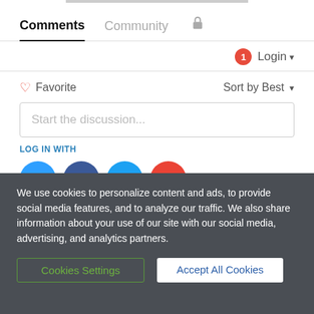Comments  Community  🔒
1  Login ▾
♡ Favorite  Sort by Best ▾
Start the discussion...
LOG IN WITH
[Figure (screenshot): Social login icons: Disqus (blue speech bubble D), Facebook (dark blue F), Twitter (light blue bird), Google (red G)]
We use cookies to personalize content and ads, to provide social media features, and to analyze our traffic. We also share information about your use of our site with our social media, advertising, and analytics partners.
Cookies Settings  Accept All Cookies